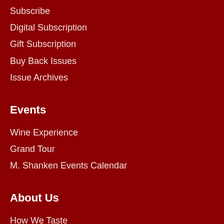Subscribe
Digital Subscription
Gift Subscription
Buy Back Issues
Issue Archives
Events
Wine Experience
Grand Tour
M. Shanken Events Calendar
About Us
How We Taste
Job Opportunities